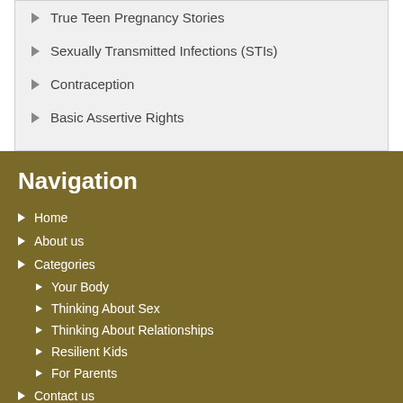True Teen Pregnancy Stories
Sexually Transmitted Infections (STIs)
Contraception
Basic Assertive Rights
Navigation
Home
About us
Categories
Your Body
Thinking About Sex
Thinking About Relationships
Resilient Kids
For Parents
Contact us